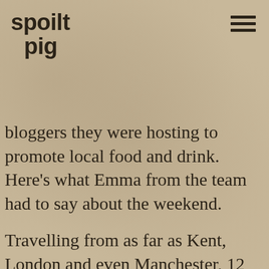spoilt pig
bloggers they were hosting to promote local food and drink. Here’s what Emma from the team had to say about the weekend.
Travelling from as far as Kent, London and even Manchester, 12 bloggers descended on Dorset to learn more about what Dorset producers have to offer in terms of locally produced goods. We